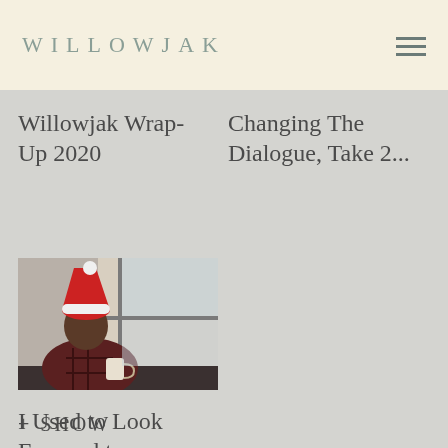WILLOWJAK
Willowjak Wrap-Up 2020
Changing The Dialogue, Take 2...
[Figure (photo): Person wearing a Santa hat sitting at a desk looking out a window, holding a mug]
I Used to Look Forward to Christmas
+ SHOW